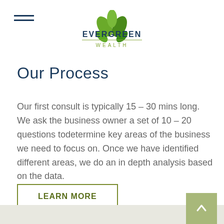Evergreen Wealth
Our Process
Our first consult is typically 15 – 30 mins long. We ask the business owner a set of 10 – 20 questions todetermine key areas of the business we need to focus on. Once we have identified different areas, we do an in depth analysis based on the data.
LEARN MORE